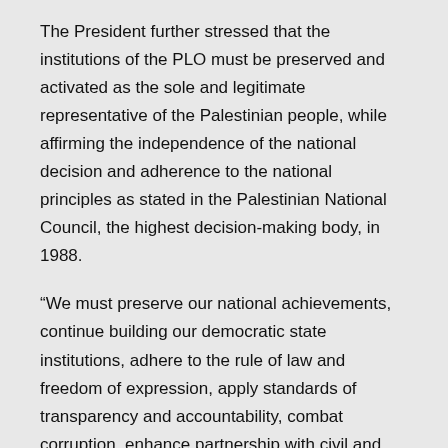The President further stressed that the institutions of the PLO must be preserved and activated as the sole and legitimate representative of the Palestinian people, while affirming the independence of the national decision and adherence to the national principles as stated in the Palestinian National Council, the highest decision-making body, in 1988.
“We must preserve our national achievements, continue building our democratic state institutions, adhere to the rule of law and freedom of expression, apply standards of transparency and accountability, combat corruption, enhance partnership with civil and private society, support creativity, empower women and youth, and strengthen the judicial system,” he said.
“Amnesty International’s report is an important step